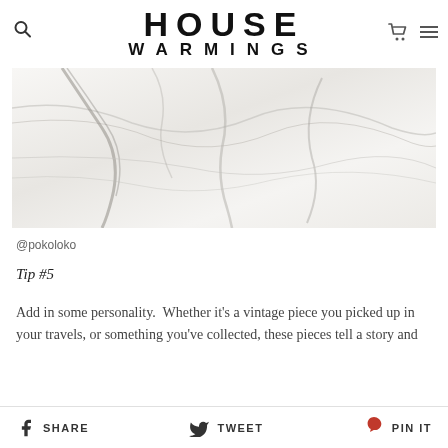HOUSE WARMINGS
[Figure (photo): Close-up photograph of white marble surface with grey veining]
@pokoloko
Tip #5
Add in some personality.  Whether it's a vintage piece you picked up in your travels, or something you've collected, these pieces tell a story and
SHARE   TWEET   PIN IT